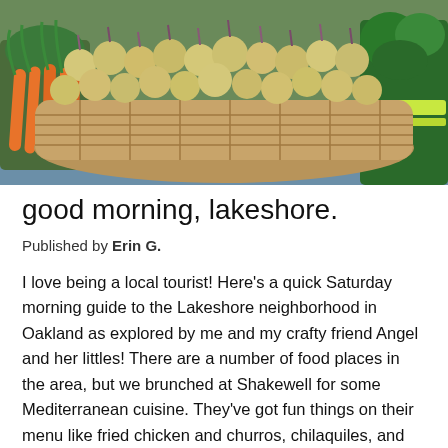[Figure (photo): A large wicker basket filled with round turnips or radishes with purple-tinged stems, surrounded by bunches of orange carrots on the left and green broccoli/vegetables on the right, displayed on a blue surface at a farmers market.]
good morning, lakeshore.
Published by Erin G.
I love being a local tourist! Here's a quick Saturday morning guide to the Lakeshore neighborhood in Oakland as explored by me and my crafty friend Angel and her littles! There are a number of food places in the area, but we brunched at Shakewell for some Mediterranean cuisine. They've got fun things on their menu like fried chicken and churros, chilaquiles, and shakshuka. Just a short trot south is the Grand Lake Farmers Market, where there is a bounty of fresh produce, prepared foods, music and